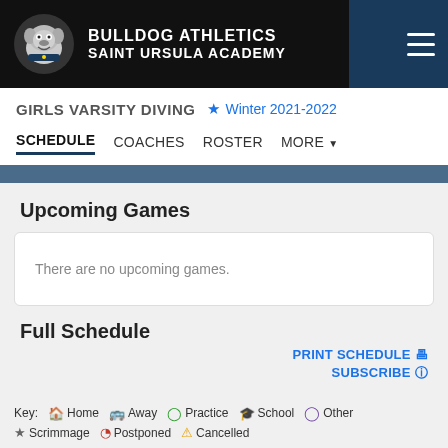BULLDOG ATHLETICS SAINT URSULA ACADEMY
GIRLS VARSITY DIVING ★ Winter 2021-2022
SCHEDULE   COACHES   ROSTER   MORE
Upcoming Games
There are no upcoming games.
Full Schedule
PRINT SCHEDULE
SUBSCRIBE
Key: Home Away Practice School Other Scrimmage Postponed Cancelled